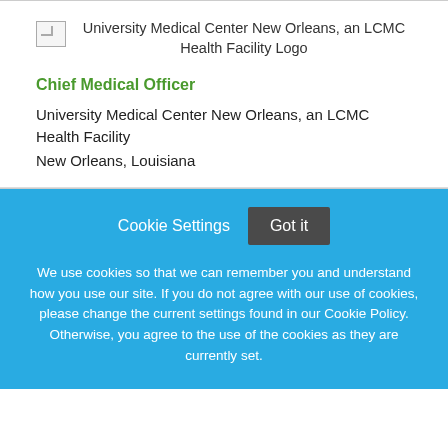[Figure (logo): University Medical Center New Orleans, an LCMC Health Facility Logo (broken image placeholder with alt text)]
Chief Medical Officer
University Medical Center New Orleans, an LCMC Health Facility
New Orleans, Louisiana
Cookie Settings  Got it
We use cookies so that we can remember you and understand how you use our site. If you do not agree with our use of cookies, please change the current settings found in our Cookie Policy. Otherwise, you agree to the use of the cookies as they are currently set.